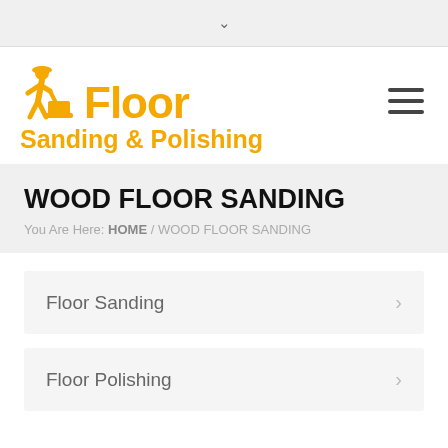∨
[Figure (logo): Floor Sanding & Polishing logo with figure icon in yellow/orange, hamburger menu icon]
WOOD FLOOR SANDING
You Are Here: HOME / WOOD FLOOR SANDING
Floor Sanding
Floor Polishing